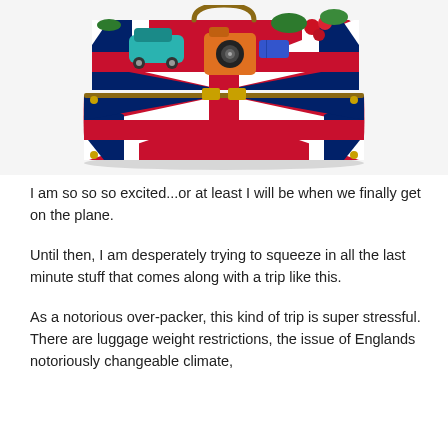[Figure (photo): A Union Jack (British flag) patterned open suitcase filled with travel items including a toy car, camera, flowers, and other items, photographed against a light background.]
I am so so so excited...or at least I will be when we finally get on the plane.
Until then, I am desperately trying to squeeze in all the last minute stuff that comes along with a trip like this.
As a notorious over-packer, this kind of trip is super stressful. There are luggage weight restrictions, the issue of Englands notoriously changeable climate,